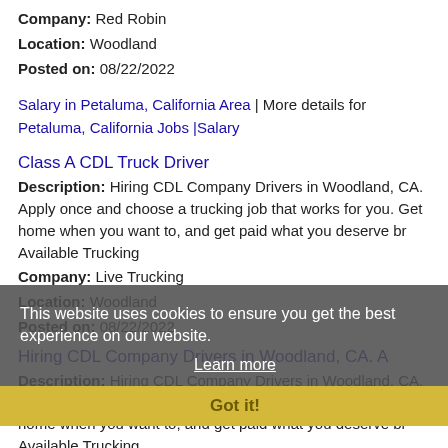Company: Red Robin
Location: Woodland
Posted on: 08/22/2022
Salary in Petaluma, California Area | More details for Petaluma, California Jobs |Salary
Class A CDL Truck Driver
Description: Hiring CDL Company Drivers in Woodland, CA. Apply once and choose a trucking job that works for you. Get home when you want to, and get paid what you deserve br Available Trucking
Company: Live Trucking
Location: Woodland
Posted on: 08/22/2022
Hiring CDL Company Drivers in Woodland, CA. A
Description: Hiring CDL Company Drivers in Woodland, CA. Apply once and choose a trucking job that works for you. Get home when you want to, and get paid what you deserve br Available Trucking
Company: Live Trucking
Location: Woodland
Posted on: 08/22/2022
This website uses cookies to ensure you get the best experience on our website. Learn more Got it!